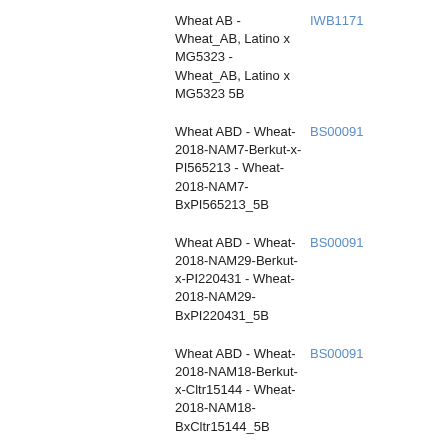Wheat AB - Wheat_AB, Latino x MG5323 - Wheat_AB, Latino x MG5323 5B
IWB1171
Wheat ABD - Wheat-2018-NAM7-Berkut-x-PI565213 - Wheat-2018-NAM7-BxPI565213_5B
BS00091
Wheat ABD - Wheat-2018-NAM29-Berkut-x-PI220431 - Wheat-2018-NAM29-BxPI220431_5B
BS00091
Wheat ABD - Wheat-2018-NAM18-Berkut-x-Cltr15144 - Wheat-2018-NAM18-BxCltr15144_5B
BS00091
Wheat ABD - Wheat-2018-NAM12-Berkut-x-Cltr11223 - Wheat-2018-NAM12-BxCltr11223_5B
BobWhite
Wheat AB - Wheat_AB, Latino x MG5323 - Wheat_AB, Latino x MG5323 5B
IWB5398
Wheat AB - Wheat_AB, Mohawk x Cocorit69 - Wheat_AB, Mohawk x Cocorit69 5B
IWB5398